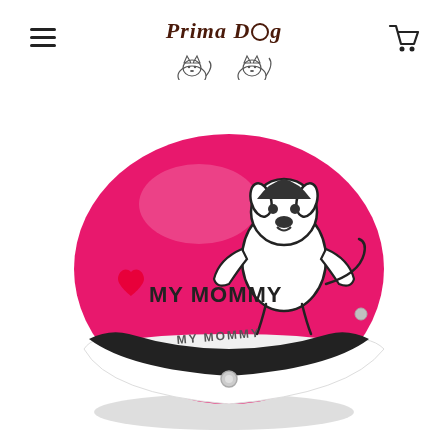Prima Dog
[Figure (photo): Pink dog helmet with white brim, featuring a cartoon dog illustration and text 'I Love MY MOMMY' printed on it.]